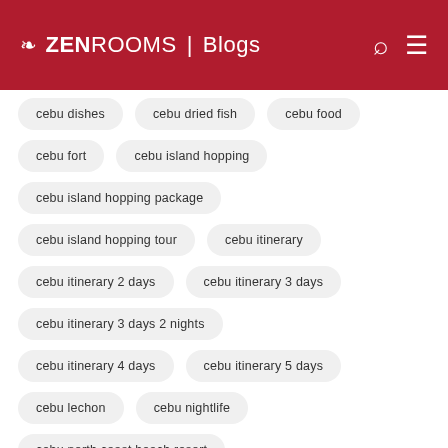ZEN ROOMS | Blogs
cebu dishes
cebu dried fish
cebu food
cebu fort
cebu island hopping
cebu island hopping package
cebu island hopping tour
cebu itinerary
cebu itinerary 2 days
cebu itinerary 3 days
cebu itinerary 3 days 2 nights
cebu itinerary 4 days
cebu itinerary 5 days
cebu lechon
cebu nightlife
cebu north coast beach resort